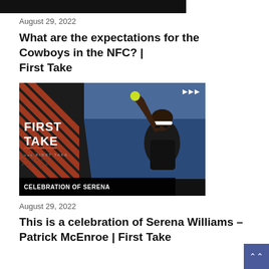[Figure (screenshot): Black thumbnail bar at the top of the page]
August 29, 2022
What are the expectations for the Cowboys in the NFC? | First Take
[Figure (screenshot): ESPN First Take video thumbnail showing 'CELEBRATION OF SERENA' with Serena Williams raising her hand on a tennis court, against a red-striped First Take branded background]
August 29, 2022
This is a celebration of Serena Williams – Patrick McEnroe | First Take